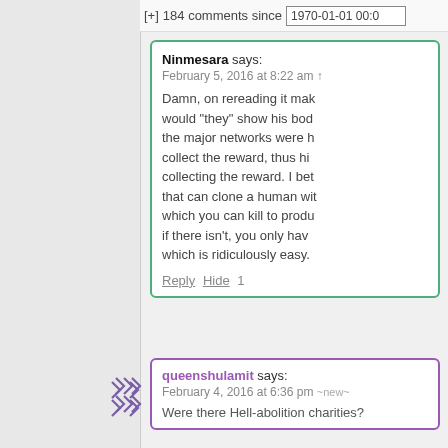[+] 184 comments since 1970-01-01 00:0
Ninmesara says:
February 5, 2016 at 8:22 am

Damn, on rereading it make would "they" show his body the major networks were he collect the reward, thus hid collecting the reward. I bet that can clone a human wit which you can kill to produ if there isn't, you only have which is ridiculously easy.
Reply Hide 1
queenshulamit says:
February 4, 2016 at 6:36 pm ~new~

Were there Hell-abolition charities?